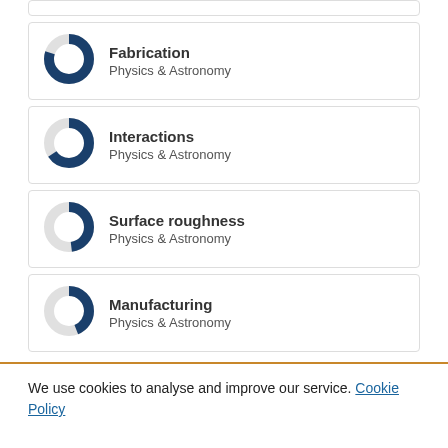Fabrication — Physics & Astronomy
Interactions — Physics & Astronomy
Surface roughness — Physics & Astronomy
Manufacturing — Physics & Astronomy
We use cookies to analyse and improve our service. Cookie Policy
Cookies Settings | Accept All Cookies